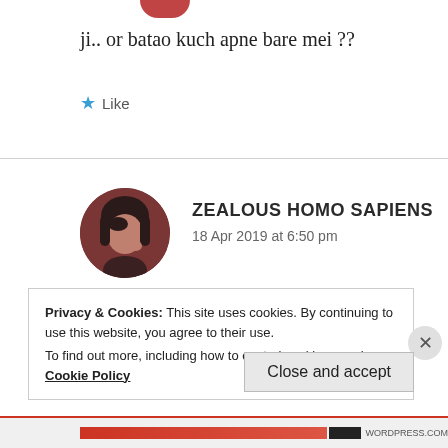ji.. or batao kuch apne bare mei ??
Like
[Figure (photo): Circular avatar of user ZEALOUS HOMO SAPIENS, showing a dark-haired anime-style figure with reddish-brown tones]
ZEALOUS HOMO SAPIENS
18 Apr 2019 at 6:50 pm
Kuch nahi ji
Privacy & Cookies: This site uses cookies. By continuing to use this website, you agree to their use.
To find out more, including how to control cookies, see here: Cookie Policy
Close and accept